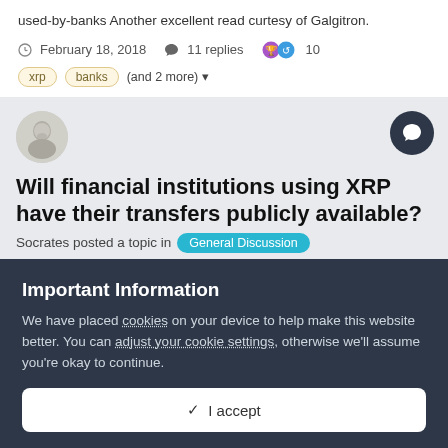used-by-banks Another excellent read curtesy of Galgitron.
February 18, 2018   11 replies   10
xrp   banks   (and 2 more)
Will financial institutions using XRP have their transfers publicly available?
Socrates posted a topic in General Discussion
Trying to understand a bit better the implications of a
Important Information
We have placed cookies on your device to help make this website better. You can adjust your cookie settings, otherwise we'll assume you're okay to continue.
✓ I accept